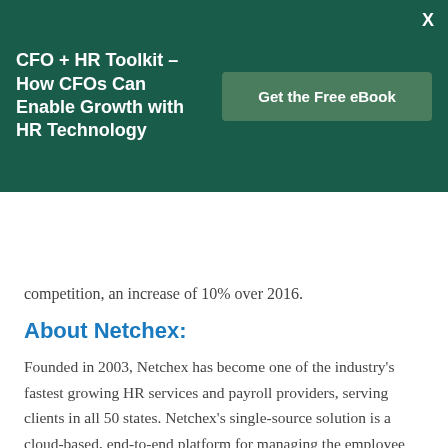[Figure (infographic): Dark green promotional banner for CFO + HR Toolkit eBook with title text on left and green 'Get the Free eBook' button on right, with X close button in top-right corner.]
[Figure (logo): Netchex logo with green leaf/checkmark icon and NETCHEX. wordmark, hamburger menu icon in green, and LOGIN button with arrow icon on dark background.]
competition, an increase of 10% over 2016.
About Netchex:
Founded in 2003, Netchex has become one of the industry's fastest growing HR services and payroll providers, serving clients in all 50 states. Netchex's single-source solution is a cloud-based, end-to-end platform for managing the employee life-cycle from hire to retire. Netchex currently services over 3,000 clients and is headquartered in Mandeville, La with